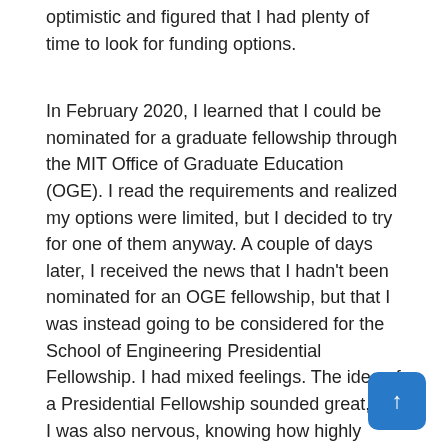optimistic and figured that I had plenty of time to look for funding options.
In February 2020, I learned that I could be nominated for a graduate fellowship through the MIT Office of Graduate Education (OGE). I read the requirements and realized my options were limited, but I decided to try for one of them anyway. A couple of days later, I received the news that I hadn't been nominated for an OGE fellowship, but that I was instead going to be considered for the School of Engineering Presidential Fellowship. I had mixed feelings. The idea of a Presidential Fellowship sounded great, but I was also nervous, knowing how highly competitive those fellowships can be. The fellowship decisions were to be announced in April.